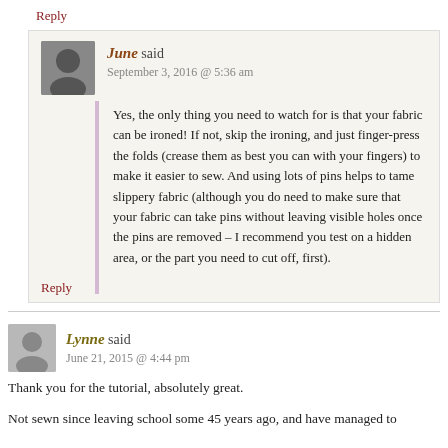Reply
June said
September 3, 2016 @ 5:36 am
Yes, the only thing you need to watch for is that your fabric can be ironed! If not, skip the ironing, and just finger-press the folds (crease them as best you can with your fingers) to make it easier to sew. And using lots of pins helps to tame slippery fabric (although you do need to make sure that your fabric can take pins without leaving visible holes once the pins are removed – I recommend you test on a hidden area, or the part you need to cut off, first).
Reply
Lynne said
June 21, 2015 @ 4:44 pm
Thank you for the tutorial, absolutely great.
Not sewn since leaving school some 45 years ago, and have managed to